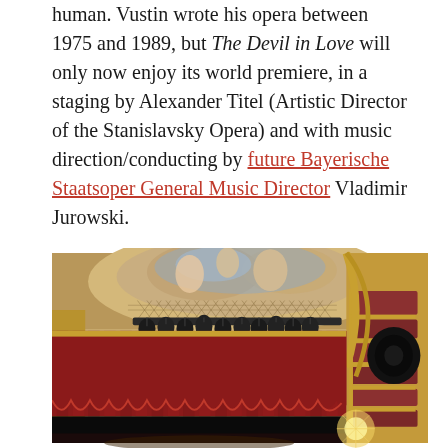human. Vustin wrote his opera between 1975 and 1989, but The Devil in Love will only now enjoy its world premiere, in a staging by Alexander Titel (Artistic Director of the Stanislavsky Opera) and with music direction/conducting by future Bayerische Staatsoper General Music Director Vladimir Jurowski.
[Figure (photo): Interior of an ornate opera house showing gilded baroque architecture, a red velvet curtain at the stage, theatrical lighting rigs, painted ceiling fresco with angels, and rows of balcony seating.]